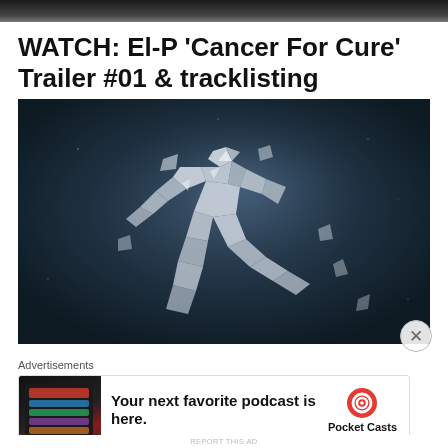[Figure (photo): Partial dark header image strip at top of page]
WATCH: El-P ‘Cancer For Cure’ Trailer #01 & tracklisting
[Figure (illustration): Dark blue/grey background with a geometric low-poly metallic figure of a running or leaping person made of angular shards, with a circular close/dismiss button overlay at bottom right]
Advertisements
[Figure (screenshot): Advertisement banner for Pocket Casts app: 'Your next favorite podcast is here.' with app screenshot thumbnail on left and Pocket Casts logo on right]